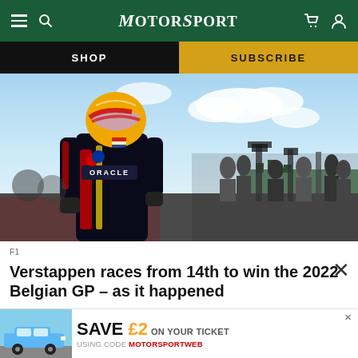MotorSport
SHOP
SUBSCRIBE
[Figure (photo): Max Verstappen in Red Bull Oracle racing suit and helmet, standing in front of media cameras at the 2022 Belgian Grand Prix parc ferme]
F1
Verstappen races from 14th to win the 2022 Belgian GP – as it happened
[Figure (infographic): Advertisement banner: SAVE £2 ON YOUR TICKET USING CODE MOTORSPORTWEB, showing a Porsche 911 illustration]